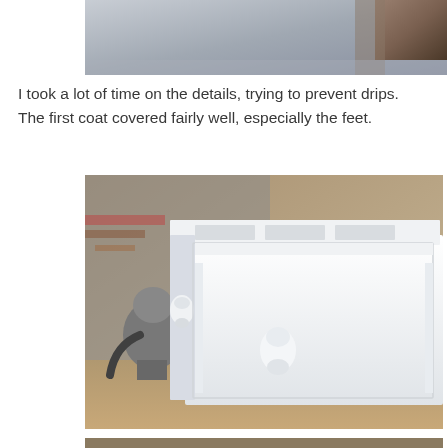[Figure (photo): Partial view of a room corner, showing a white wall and a dark wood floor or object at the top right edge.]
I took a lot of time on the details, trying to prevent drips. The first coat covered fairly well, especially the feet.
[Figure (photo): A white-painted wooden furniture piece (likely a dresser or cabinet frame) with decorative wooden knobs, photographed in a workshop with tools and a shop vacuum visible in the background.]
[Figure (photo): Bottom portion of a workshop scene showing white painted furniture pieces and workshop tools on a workbench.]